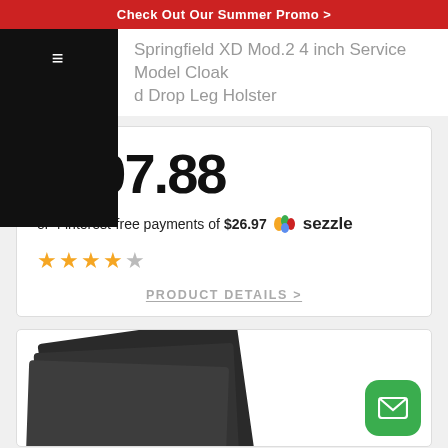Check Out Our Summer Promo >
Springfield XD Mod.2 4 inch Service Model Cloak d Drop Leg Holster
$107.88
or 4 interest-free payments of $26.97 🌈 sezzle
★★★★☆
PRODUCT DETAILS >
[Figure (photo): Stacked dark foam or fabric sheets product image, partially visible at bottom of page]